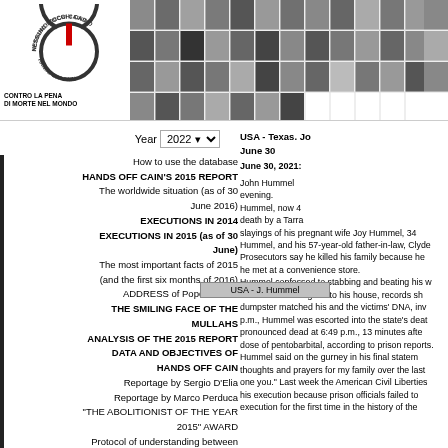[Figure (logo): Hands Off Cain / Nessuno Tocchi Caino circular power button logo with red vertical bar]
CONTRO LA PENA DI MORTE NEL MONDO
[Figure (photo): Grid of mugshot photos of death row inmates]
Year 2022
How to use the database
HANDS OFF CAIN'S 2015 REPORT
The worldwide situation (as of 30 June 2016)
EXECUTIONS IN 2014
EXECUTIONS IN 2015 (as of 30 June)
The most important facts of 2015 (and the first six months of 2016)
ADDRESS of Pope Francis
THE SMILING FACE OF THE MULLAHS
ANALYSIS OF THE 2015 REPORT DATA AND OBJECTIVES OF HANDS OFF CAIN
Reportage by Sergio D'Elia
Reportage by Marco Perduca
"THE ABOLITIONIST OF THE YEAR 2015" AWARD
Protocol of understanding between NTC and CNF
USA - Texas. Jo June 30
June 30, 2021:
USA - J. Hummel
John Hummel evening. Hummel, now 4 death by a Tarra slayings of his pregnant wife Joy Hummel, 34 Hummel, and his 57-year-old father-in-law, Clyde Prosecutors say he killed his family because he he met at a convenience store. Hummel confessed to stabbing and beating his w victims and setting fire to his house, records sh dumpster matched his and the victims' DNA, inv p.m., Hummel was escorted into the state's deat pronounced dead at 6:49 p.m., 13 minutes afte dose of pentobarbital, according to prison reports. Hummel said on the gurney in his final statem thoughts and prayers for my family over the last one you." Last week the American Civil Liberties his execution because prison officials failed to execution for the first time in the history of the